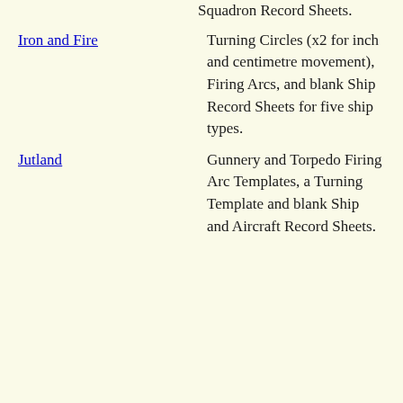Squadron Record Sheets.
Iron and Fire — Turning Circles (x2 for inch and centimetre movement), Firing Arcs, and blank Ship Record Sheets for five ship types.
Jutland — Gunnery and Torpedo Firing Arc Templates, a Turning Template and blank Ship and Aircraft Record Sheets.